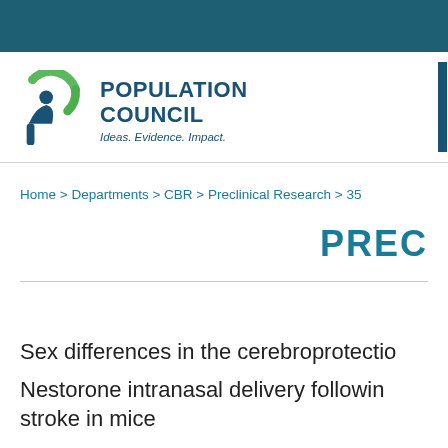[Figure (logo): Population Council logo with green arc, blue figure, and dark blue text reading POPULATION COUNCIL, Ideas. Evidence. Impact.]
Home > Departments > CBR > Preclinical Research > 35
PREC
Sex differences in the cerebroprotection of Nestorone intranasal delivery following stroke in mice